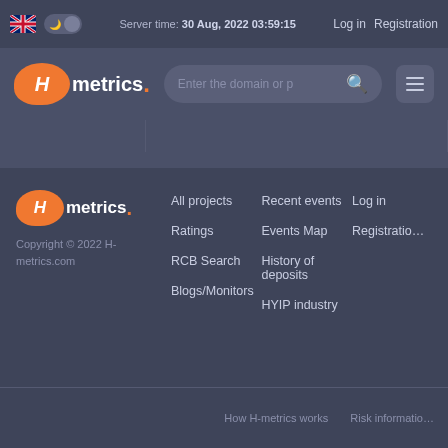Server time: 30 Aug, 2022 03:59:15  Log in  Registration
[Figure (logo): Hmetrics orange bubble logo with search bar and hamburger menu]
All projects  Ratings  RCB Search  Blogs/Monitors  Recent events  Events Map  History of deposits  HYIP industry  Log in  Registration  Copyright © 2022 H-metrics.com
How H-metrics works  Risk information